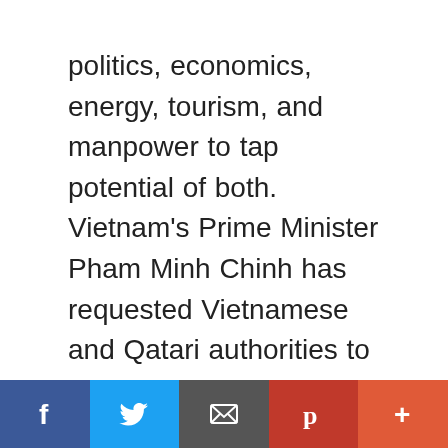politics, economics, energy, tourism, and manpower to tap potential of both. Vietnam's Prime Minister Pham Minh Chinh has requested Vietnamese and Qatari authorities to speed up negotiations on a bilateral free trade agreement. Vietnam's Prime Minister Pham Minh Chinh meets Qatar's Deputy Prime Minister and Foreign Minister Sheikh Mohammed bin Abdulrahman Al-Thani in Hanoi on August 15. Photo: VGP He requested the two countries to ink an agreement on visa exemption for ordinary passport holders. On the same day, Vietnamese Minister of Foreign Affairs Bui Thanh Son met Sheikh Mohammed bin Abdulrahman Al-Thani, agreeing to boost trade
Facebook | Twitter | Email | Pinterest | More